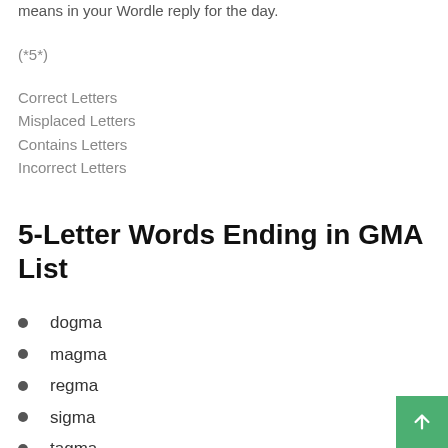means in your Wordle reply for the day.
(*5*)
Correct Letters
Misplaced Letters
Contains Letters
Incorrect Letters
5-Letter Words Ending in GMA List
dogma
magma
regma
sigma
tagma